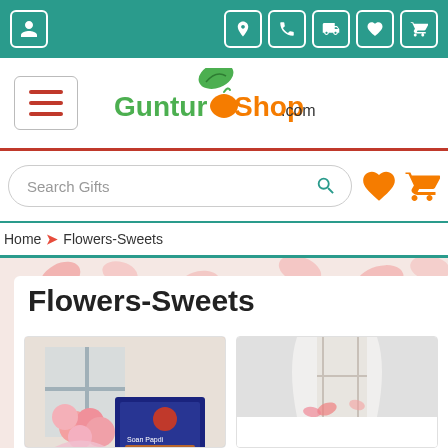[Figure (screenshot): Top navigation bar with teal background showing user icon on left and location, phone, truck, heart, cart icons on right]
[Figure (logo): GunturShop.com logo with green and orange text and leaf graphic, with hamburger menu icon on left]
[Figure (screenshot): Search bar with 'Search Gifts' placeholder text and search icon, with heart and cart icons to the right]
Home → Flowers-Sweets
Flowers-Sweets
[Figure (photo): Product photo showing pink roses bouquet with Soan Papdi sweet box on a white background]
[Figure (photo): Product photo showing white curtains with pink decorative elements]